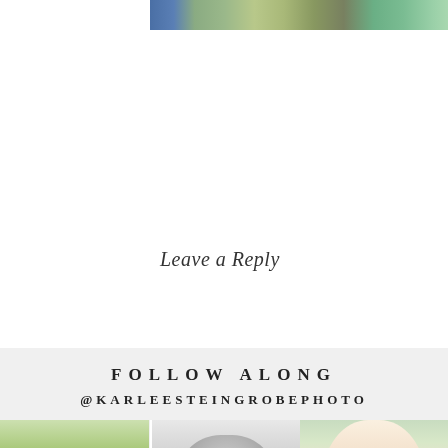[Figure (photo): Top strip of a photo showing people (couple) outdoors with greenery in the background]
Leave a Reply
FOLLOW ALONG
@KARLEESTEINGROBEPHOTO
[Figure (photo): Color photo of a couple standing in a green field, man in navy suit]
[Figure (photo): Black and white photo of a couple looking at a newborn baby]
[Figure (photo): Color photo of a blonde bride with eyes closed, wearing lace dress]